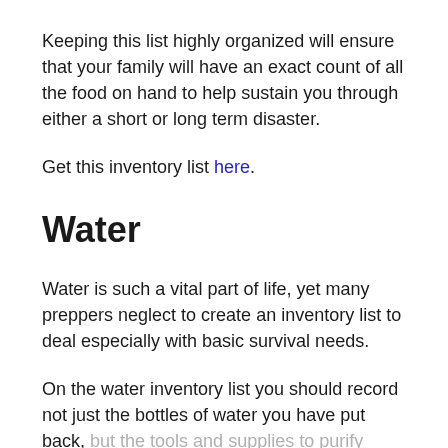Keeping this list highly organized will ensure that your family will have an exact count of all the food on hand to help sustain you through either a short or long term disaster.
Get this inventory list here.
Water
Water is such a vital part of life, yet many preppers neglect to create an inventory list to deal especially with basic survival needs.
On the water inventory list you should record not just the bottles of water you have put back, but the tools and supplies to purify water and manually garner water during an off grid situation.